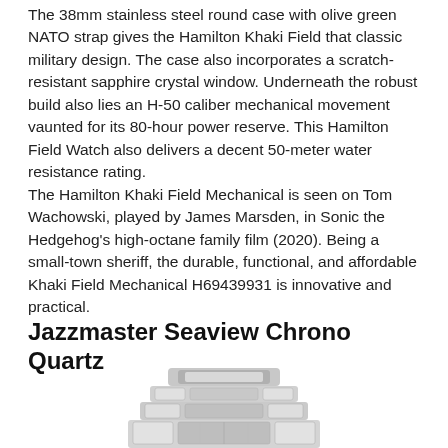The 38mm stainless steel round case with olive green NATO strap gives the Hamilton Khaki Field that classic military design. The case also incorporates a scratch-resistant sapphire crystal window. Underneath the robust build also lies an H-50 caliber mechanical movement vaunted for its 80-hour power reserve. This Hamilton Field Watch also delivers a decent 50-meter water resistance rating.
The Hamilton Khaki Field Mechanical is seen on Tom Wachowski, played by James Marsden, in Sonic the Hedgehog's high-octane family film (2020). Being a small-town sheriff, the durable, functional, and affordable Khaki Field Mechanical H69439931 is innovative and practical.
Jazzmaster Seaview Chrono Quartz
[Figure (photo): Partial view of a watch with metal bracelet, cropped at the bottom of the page]